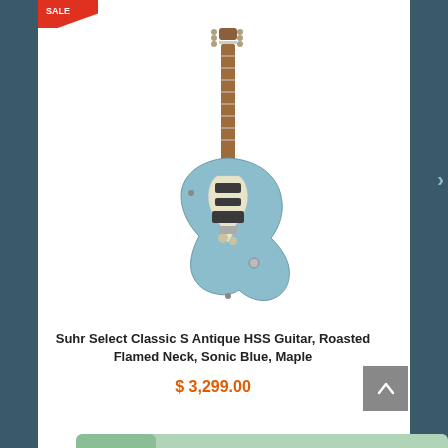[Figure (photo): Suhr Select Classic S Antique HSS electric guitar in Sonic Blue with roasted flamed maple neck, shown full-length vertically on white background]
Suhr Select Classic S Antique HSS Guitar, Roasted Flamed Neck, Sonic Blue, Maple
$ 3,299.00